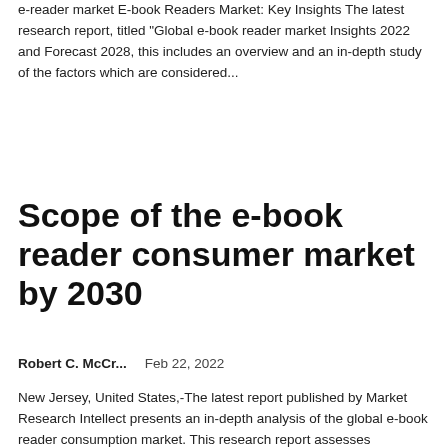e-reader market E-book Readers Market: Key Insights The latest research report, titled "Global e-book reader market Insights 2022 and Forecast 2028, this includes an overview and an in-depth study of the factors which are considered...
Scope of the e-book reader consumer market by 2030
Robert C. McCr...    Feb 22, 2022
New Jersey, United States,-The latest report published by Market Research Intellect presents an in-depth analysis of the global e-book reader consumption market. This research report assesses